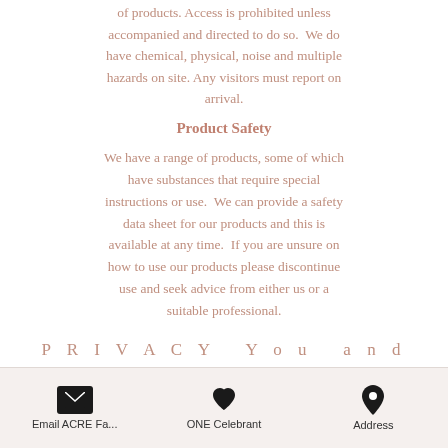of products. Access is prohibited unless accompanied and directed to do so. We do have chemical, physical, noise and multiple hazards on site. Any visitors must report on arrival.
Product Safety
We have a range of products, some of which have substances that require special instructions or use. We can provide a safety data sheet for our products and this is available at any time. If you are unsure on how to use our products please discontinue use and seek advice from either us or a suitable professional.
PRIVACY  You and
Email ACRE Fa...   ONE Celebrant   Address